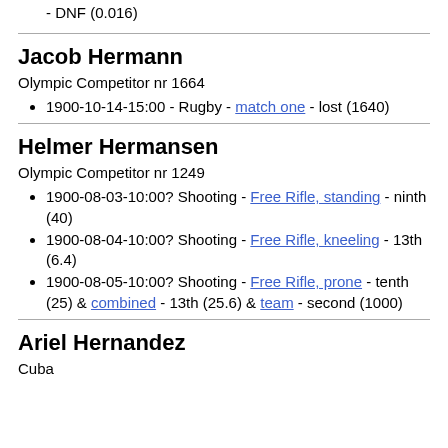- DNF (0.016)
Jacob Hermann
Olympic Competitor nr 1664
1900-10-14-15:00 - Rugby - match one - lost (1640)
Helmer Hermansen
Olympic Competitor nr 1249
1900-08-03-10:00? Shooting - Free Rifle, standing - ninth (40)
1900-08-04-10:00? Shooting - Free Rifle, kneeling - 13th (6.4)
1900-08-05-10:00? Shooting - Free Rifle, prone - tenth (25) & combined - 13th (25.6) & team - second (1000)
Ariel Hernandez
Cuba